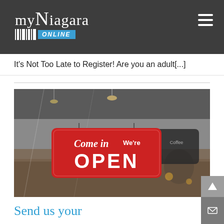myNiagara ONLINE
It's Not Too Late to Register! Are you an adult[...]
[Figure (photo): Photo of a cafe storefront window with a red 'Come in We're OPEN' sign hanging on the glass door, with a coffee shop interior visible in the background.]
Send us your